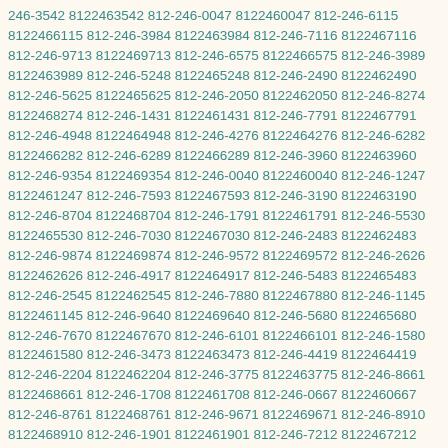246-3542 8122463542 812-246-0047 8122460047 812-246-6115 8122466115 812-246-3984 8122463984 812-246-7116 8122467116 812-246-9713 8122469713 812-246-6575 8122466575 812-246-3989 8122463989 812-246-5248 8122465248 812-246-2490 8122462490 812-246-5625 8122465625 812-246-2050 8122462050 812-246-8274 8122468274 812-246-1431 8122461431 812-246-7791 8122467791 812-246-4948 8122464948 812-246-4276 8122464276 812-246-6282 8122466282 812-246-6289 8122466289 812-246-3960 8122463960 812-246-9354 8122469354 812-246-0040 8122460040 812-246-1247 8122461247 812-246-7593 8122467593 812-246-3190 8122463190 812-246-8704 8122468704 812-246-1791 8122461791 812-246-5530 8122465530 812-246-7030 8122467030 812-246-2483 8122462483 812-246-9874 8122469874 812-246-9572 8122469572 812-246-2626 8122462626 812-246-4917 8122464917 812-246-5483 8122465483 812-246-2545 8122462545 812-246-7880 8122467880 812-246-1145 8122461145 812-246-9640 8122469640 812-246-5680 8122465680 812-246-7670 8122467670 812-246-6101 8122466101 812-246-1580 8122461580 812-246-3473 8122463473 812-246-4419 8122464419 812-246-2204 8122462204 812-246-3775 8122463775 812-246-8661 8122468661 812-246-1708 8122461708 812-246-0667 8122460667 812-246-8761 8122468761 812-246-9671 8122469671 812-246-8910 8122468910 812-246-1901 8122461901 812-246-7212 8122467212 812-246-8153 8122468153 812-246-0484 8122460484 812-246-8449 8122468449 812-246-7974 8122467974 812-246-3048 8122463048 812-246-5535 8122465535 812-246-1167 8122461167 812-246-6430 8122466430 812-246-8391 8122468391 812-246-2311 8122462311 812-